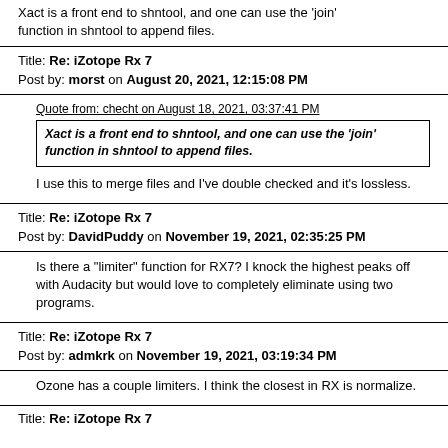Xact is a front end to shntool, and one can use the 'join' function in shntool to append files.
Title: Re: iZotope Rx 7
Post by: morst on August 20, 2021, 12:15:08 PM
Quote from: checht on August 18, 2021, 03:37:41 PM
Xact is a front end to shntool, and one can use the 'join' function in shntool to append files.
I use this to merge files and I've double checked and it's lossless.
Title: Re: iZotope Rx 7
Post by: DavidPuddy on November 19, 2021, 02:35:25 PM
Is there a "limiter" function for RX7? I knock the highest peaks off with Audacity but would love to completely eliminate using two programs.
Title: Re: iZotope Rx 7
Post by: admkrk on November 19, 2021, 03:19:34 PM
Ozone has a couple limiters. I think the closest in RX is normalize.
Title: Re: iZotope Rx 7